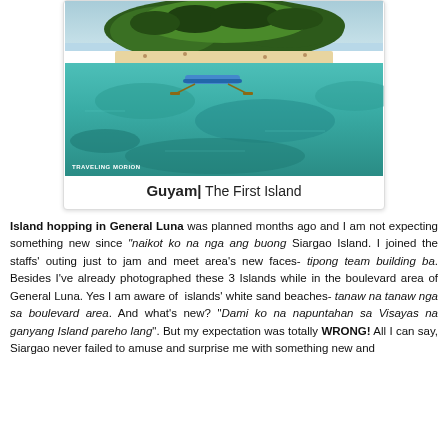[Figure (photo): Aerial/elevated photo of Guyam Island, Siargao - a small island with dense palm trees, white sand beach, turquoise shallow reef water, and a blue outrigger boat. Watermark reads TRAVELING MORION.]
Guyam| The First Island
Island hopping in General Luna was planned months ago and I am not expecting something new since "naikot ko na nga ang buong Siargao Island. I joined the staffs' outing just to jam and meet area's new faces- tipong team building ba. Besides I've already photographed these 3 Islands while in the boulevard area of General Luna. Yes I am aware of islands' white sand beaches- tanaw na tanaw nga sa boulevard area. And what's new? "Dami ko na napuntahan sa Visayas na ganyang Island pareho lang". But my expectation was totally WRONG! All I can say, Siargao never failed to amuse and surprise me with something new and